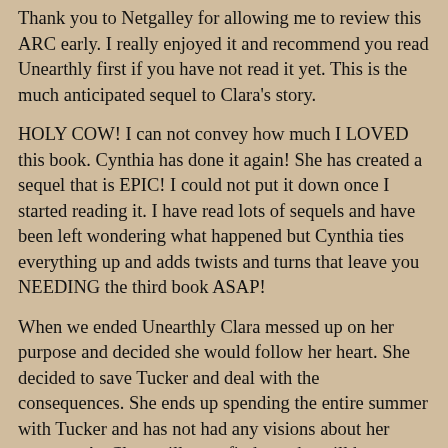Thank you to Netgalley for allowing me to review this ARC early. I really enjoyed it and recommend you read Unearthly first if you have not read it yet. This is the much anticipated sequel to Clara's story.
HOLY COW! I can not convey how much I LOVED this book. Cynthia has done it again! She has created a sequel that is EPIC! I could not put it down once I started reading it. I have read lots of sequels and have been left wondering what happened but Cynthia ties everything up and adds twists and turns that leave you NEEDING the third book ASAP!
When we ended Unearthly Clara messed up on her purpose and decided she would follow her heart. She decided to save Tucker and deal with the consequences. She ends up spending the entire summer with Tucker and has not had any visions about her purpose. As Clara will soon find out she will have a vision that will change her entire world. She will once again have to make a chose and what she chooses could be the difference between someones life and death. She will uncover some family secrets that will rock the whole family. She will come face to face with a person she has not